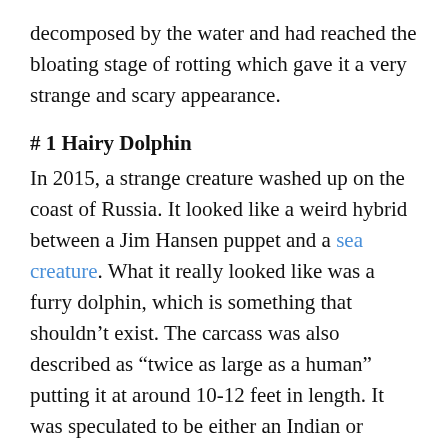decomposed by the water and had reached the bloating stage of rotting which gave it a very strange and scary appearance.
# 1 Hairy Dolphin
In 2015, a strange creature washed up on the coast of Russia. It looked like a weird hybrid between a Jim Hansen puppet and a sea creature. What it really looked like was a furry dolphin, which is something that shouldn't exist. The carcass was also described as “twice as large as a human” putting it at around 10-12 feet in length. It was speculated to be either an Indian or Ganges dolphin which isn’t local to Russian waters. The main accepted theory now is that the dolphin was brought to the coast by